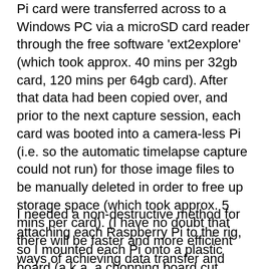Pi card were transferred across to a Windows PC via a microSD card reader through the free software 'ext2explore' (which took approx. 40 mins per 32gb card, 120 mins per 64gb card). After that data had been copied over, and prior to the next capture session, each card was booted into a camera-less Pi (i.e. so the automatic timelapse capture could not run) for those image files to be manually deleted in order to free up storage space (which took approx. 5 mins per card). (I have no doubt that there will be faster and more efficient ways of achieving data transfer and wipe, e.g. via SSH, but it was beyond my skill and knowledge at the time.)
I needed a non-destructive method for attaching each Raspberry Pi to the rig, so I mounted each Pi onto a plastic board (a.k.a. a chopping board cut